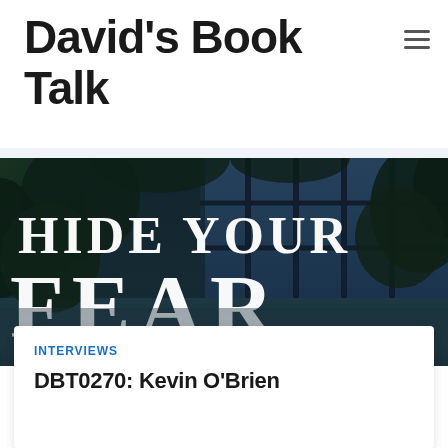David's Book Talk
[Figure (photo): Book cover image showing 'Hide Your Fear' text in white serif letters over a dark moody background with trees and a building with large windows]
INTERVIEWS
DBT0270: Kevin O'Brien